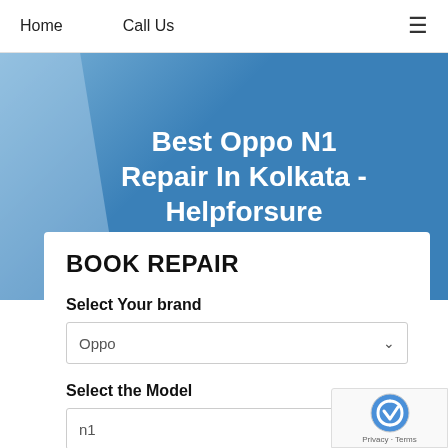Home   Call Us   ≡
Best Oppo N1 Repair In Kolkata - Helpforsure
BOOK REPAIR
Select Your brand
Oppo
Select the Model
n1